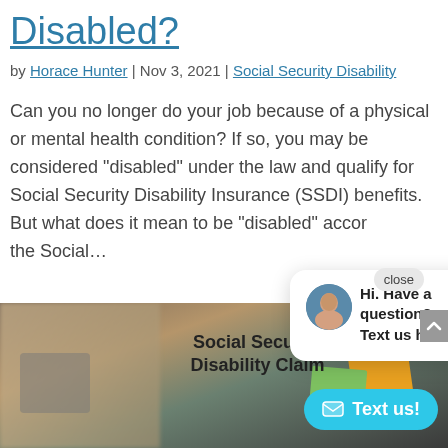Disabled?
by Horace Hunter | Nov 3, 2021 | Social Security Disability
Can you no longer do your job because of a physical or mental health condition? If so, you may be considered "disabled" under the law and qualify for Social Security Disability Insurance (SSDI) benefits. But what does it mean to be "disabled" accor... the Social...
[Figure (screenshot): Chat popup overlay with avatar of woman and text: Hi. Have a question? Text us here. Close button visible.]
[Figure (photo): Photo of a Social Security Disability Claim form on a desk with colorful sticky notes, a calculator, and a hand holding a pen. A 'Text us!' button overlaid in the bottom right corner.]